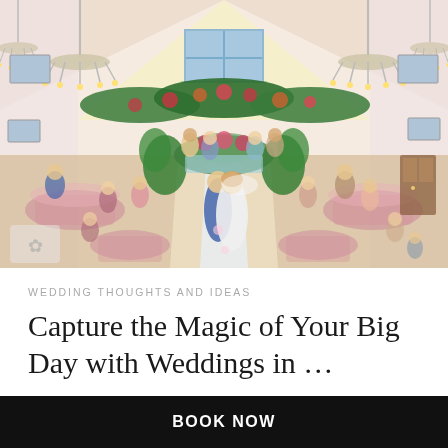[Figure (illustration): Watercolor illustration of a wedding reception venue interior. A bride and groom share a first dance in the center aisle. Guests are seated at tables decorated with floral arrangements on both sides. Chandeliers hang from the ceiling, green garlands and flowers decorate the upper area, and large windows let in light at the back of the hall.]
WEDDING THOUGHTS AND IDEAS
Capture the Magic of Your Big Day with Weddings in ...
BOOK NOW